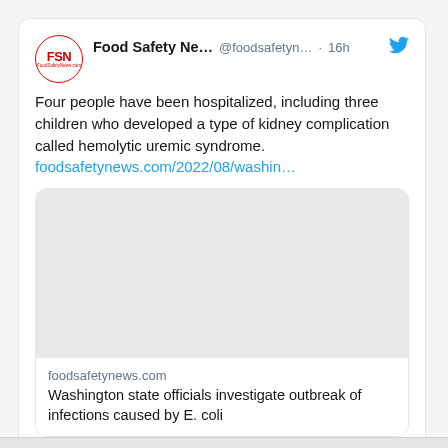[Figure (screenshot): Screenshot of a tweet from Food Safety News (@foodsafetyn...) posted 16 hours ago. The tweet reads: 'Four people have been hospitalized, including three children who developed a type of kidney complication called hemolytic uremic syndrome. foodsafetynews.com/2022/08/washin...' An embedded link card shows a blank image area and the text 'foodsafetynews.com' and 'Washington state officials investigate outbreak of infections caused by E. coli'. Below the tweet are comment and like icons, with 2 likes shown.]